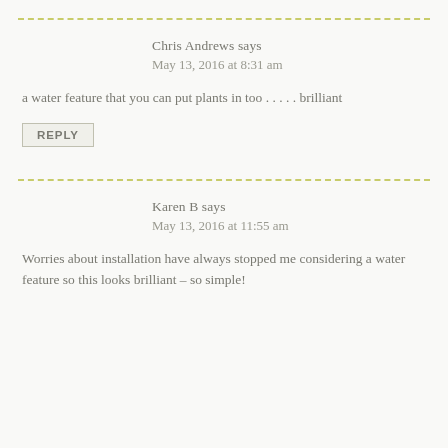Chris Andrews says
May 13, 2016 at 8:31 am
a water feature that you can put plants in too . . . . . brilliant
REPLY
Karen B says
May 13, 2016 at 11:55 am
Worries about installation have always stopped me considering a water feature so this looks brilliant – so simple!